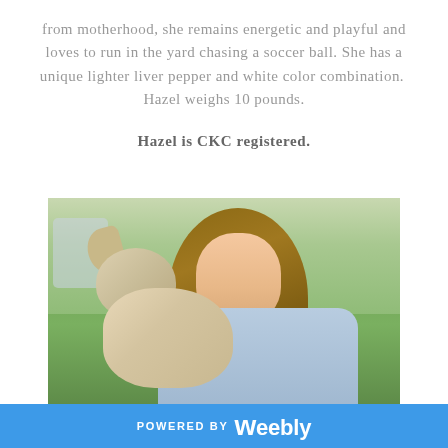from motherhood, she remains energetic and playful and loves to run in the yard chasing a soccer ball. She has a unique lighter liver pepper and white color combination.  Hazel weighs 10 pounds.
Hazel is CKC registered.
[Figure (photo): A young girl with long brown hair wearing a light blue shirt, holding a small fluffy light-colored dog (appears to be a Schnauzer or similar breed) outdoors in a grassy yard setting with patio furniture visible in the background.]
POWERED BY weebly